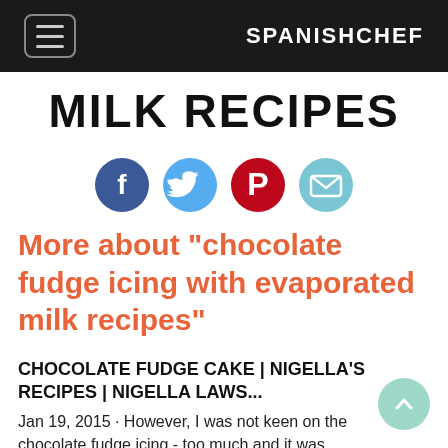SPANISHCHEF
MILK RECIPES
[Figure (infographic): Four social media sharing icons: Facebook (blue), Twitter (light blue), Pinterest (dark red), Email (light blue)]
More about "chocolate fudge icing with evaporated milk recipes"
CHOCOLATE FUDGE CAKE | NIGELLA'S RECIPES | NIGELLA LAWS...
Jan 19, 2015 · However, I was not keen on the chocolate fudge icing - too much and it was extremely rich. Next time I make this cake will top